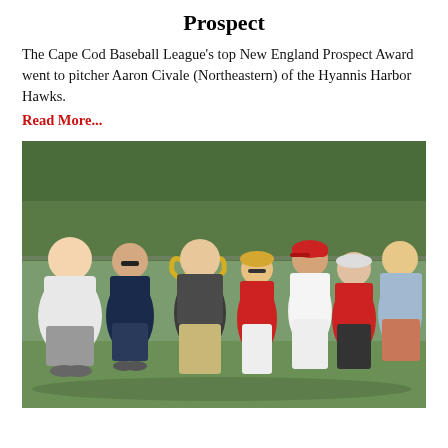Prospect
The Cape Cod Baseball League's top New England Prospect Award went to pitcher Aaron Civale (Northeastern) of the Hyannis Harbor Hawks.
Read More...
[Figure (photo): Group of seven people posing outdoors on a baseball field. A man in the center holds a large trophy cup. Several people wear red clothing; one person wears a baseball uniform with a red cap. Trees are visible in the background.]